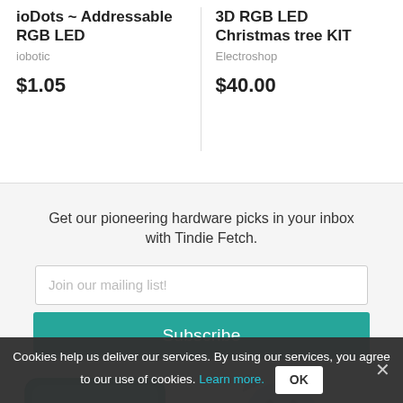ioDots ~ Addressable RGB LED
iobotic
$1.05
3D RGB LED Christmas tree KIT
Electroshop
$40.00
Get our pioneering hardware picks in your inbox with Tindie Fetch.
Join our mailing list!
Subscribe
[Figure (illustration): Partial illustration showing a teal phone/device and a cartoon fox-like mascot character in the bottom portion of the page]
Cookies help us deliver our services. By using our services, you agree to our use of cookies. Learn more. OK